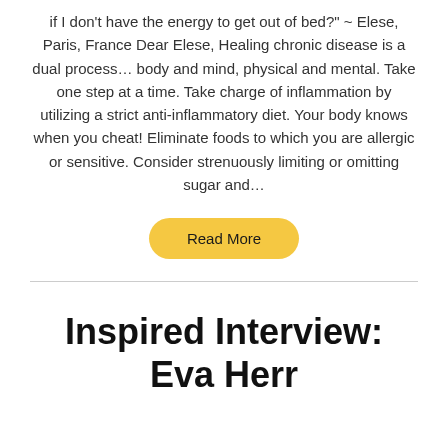if I don’t have the energy to get out of bed?” ~ Elese, Paris, France Dear Elese, Healing chronic disease is a dual process… body and mind, physical and mental. Take one step at a time. Take charge of inflammation by utilizing a strict anti-inflammatory diet. Your body knows when you cheat! Eliminate foods to which you are allergic or sensitive. Consider strenuously limiting or omitting sugar and…
Read More
Inspired Interview: Eva Herr